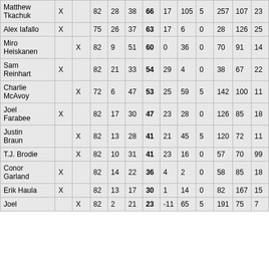| Player | C1 | C2 | GP | G | A | PTS | C3 | C4 | C5 | C6 | C7 | C8 |
| --- | --- | --- | --- | --- | --- | --- | --- | --- | --- | --- | --- | --- |
| Matthew Tkachuk | X |  | 82 | 28 | 38 | 66 | 17 | 105 | 5 | 257 | 107 | 23 |
| Alex Iafallo | X |  | 75 | 26 | 37 | 63 | 17 | 6 | 0 | 28 | 126 | 25 |
| Miro Heiskanen |  | X | 82 | 9 | 51 | 60 | 0 | 36 | 0 | 70 | 91 | 14 |
| Sam Reinhart | X |  | 82 | 21 | 33 | 54 | 29 | 4 | 0 | 38 | 67 | 22 |
| Charlie McAvoy |  | X | 72 | 6 | 47 | 53 | 25 | 59 | 5 | 142 | 100 | 11 |
| Joel Farabee | X |  | 82 | 17 | 30 | 47 | 23 | 28 | 0 | 126 | 85 | 18 |
| Justin Braun |  | X | 82 | 13 | 28 | 41 | 21 | 45 | 5 | 120 | 72 | 11 |
| T.J. Brodie |  | X | 82 | 10 | 31 | 41 | 23 | 16 | 0 | 57 | 70 | 99 |
| Conor Garland | X |  | 82 | 14 | 22 | 36 | 4 | 2 | 0 | 58 | 85 | 18 |
| Erik Haula | X |  | 82 | 13 | 17 | 30 | 1 | 14 | 0 | 82 | 167 | 15 |
| Joel |  | X | 82 | 2 | 21 | 23 | -11 | 65 | 5 | 191 | 75 | 7 |